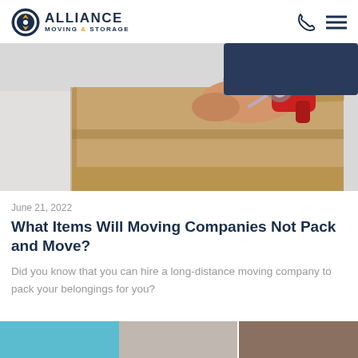ALLIANCE MOVING & STORAGE
[Figure (photo): Person taping a cardboard moving box with a tape gun, close-up shot]
June 21, 2022
What Items Will Moving Companies Not Pack and Move?
Did you know that you can hire a long-distance moving company to pack your belongings for you?
[Figure (photo): Thumbnail images at the bottom of the page, partially visible]